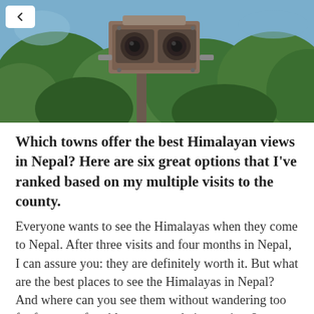[Figure (photo): A vintage/old camera mounted on a metal bracket or pole, with green trees and blue sky visible in the background. A back-navigation chevron button is visible in the top-left corner over the image.]
Which towns offer the best Himalayan views in Nepal? Here are six great options that I've ranked based on my multiple visits to the county.
Everyone wants to see the Himalayas when they come to Nepal. After three visits and four months in Nepal, I can assure you: they are definitely worth it. But what are the best places to see the Himalayas in Nepal? And where can you see them without wandering too far from comfortable accommodation options?